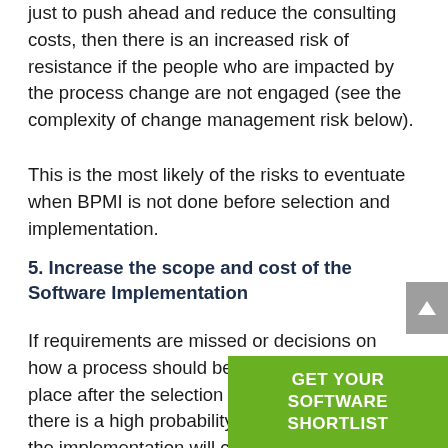just to push ahead and reduce the consulting costs, then there is an increased risk of resistance if the people who are impacted by the process change are not engaged (see the complexity of change management risk below).
This is the most likely of the risks to eventuate when BPMI is not done before selection and implementation.
5. Increase the scope and cost of the Software Implementation
If requirements are missed or decisions on how a process should be done are only taking place after the selection of the system, then there is a high probability that the scope of the implementation will change. This is because the proposed … additional customisation … meet the